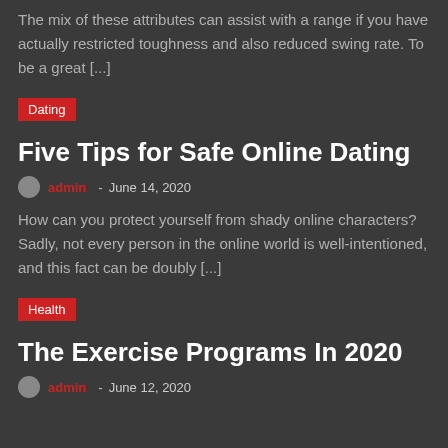The mix of these attributes can assist with a range if you have actually restricted toughness and also reduced swing rate. To be a great [...]
Dating
Five Tips for Safe Online Dating
admin  -  June 14, 2020
How can you protect yourself from shady online characters? Sadly, not every person in the online world is well-intentioned, and this fact can be doubly [...]
Health
The Exercise Programs In 2020
admin  -  June 12, 2020